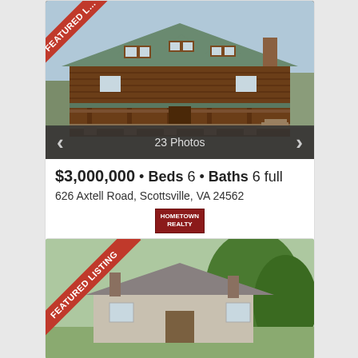[Figure (photo): Log cabin style house with green metal roof, covered porch, dormers, and gravel driveway. Red 'FEATURED LISTING' ribbon in top-left corner. Photo navigation strip at bottom showing '23 Photos' with left/right arrows.]
$3,000,000 • Beds 6 • Baths 6 full
626 Axtell Road, Scottsville, VA 24562
[Figure (logo): Hometown Realty logo - dark red badge]
[Figure (photo): Second property listing photo showing a house with green trees. Red 'FEATURED LISTING' ribbon in top-left corner.]